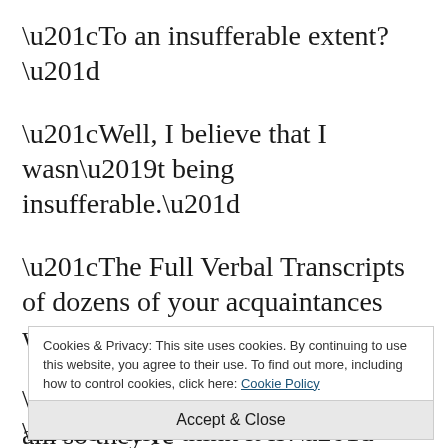“To an insufferable extent?”
“Well, I believe that I wasn’t being insufferable.”
“The Full Verbal Transcripts of dozens of your acquaintances would indicate otherwise.”
“Well… they’re poorer than I am so they’re
Cookies & Privacy: This site uses cookies. By continuing to use this website, you agree to their use. To find out more, including how to control cookies, click here: Cookie Policy
Accept & Close
“Well, I think it is!”